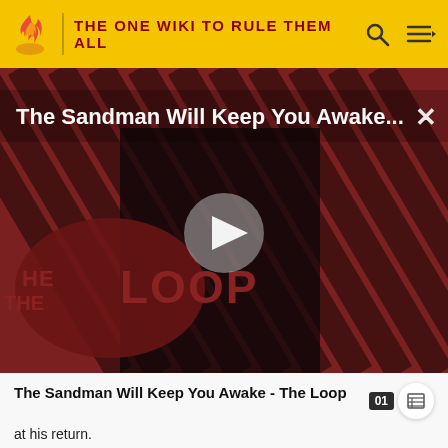THE ONE WIKI TO RULE THEM ALL
[Figure (screenshot): Video thumbnail for 'The Sandman Will Keep You Awake...' showing a figure in black against a red and black striped background with THE LOOP logo overlay and a play button in the center. An X close button is in the top right.]
The Sandman Will Keep You Awake - The Loop
at his return.
[Figure (photo): Partial thumbnail image showing a green hedge or garden structure]